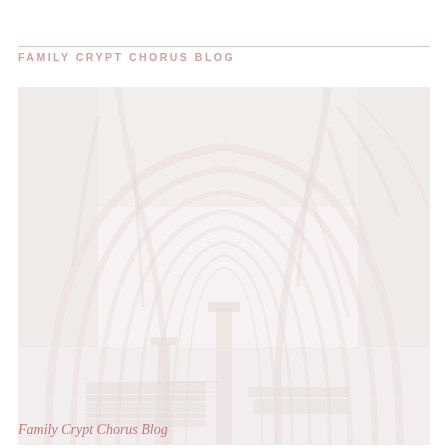FAMILY CRYPT CHORUS BLOG
[Figure (photo): A faded/washed-out photograph of a gothic or romanesque crypt interior, showing stone vaulted arches receding into the distance. The image is very light/desaturated with a pinkish-white tone. Gothic stone columns and ribbed vaulting are visible.]
Family Crypt Chorus Blog